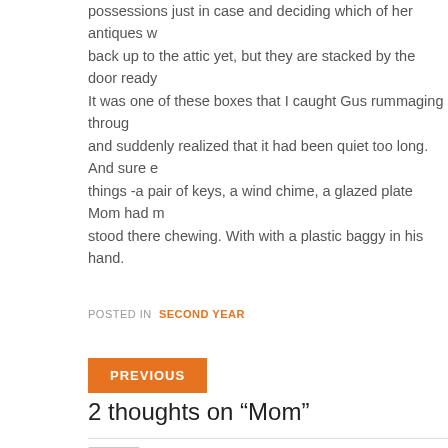possessions just in case and deciding which of her antiques w... back up to the attic yet, but they are stacked by the door ready...
It was one of these boxes that I caught Gus rummaging throug... and suddenly realized that it had been quiet too long. And sure e... things -a pair of keys, a wind chime, a glazed plate Mom had m... stood there chewing. With with a plastic baggy in his hand.
POSTED IN SECOND YEAR
PREVIOUS
2 thoughts on “Mom”
Aunt Lani
SEPTEMBER 15, 2009 AT 9:02 AM